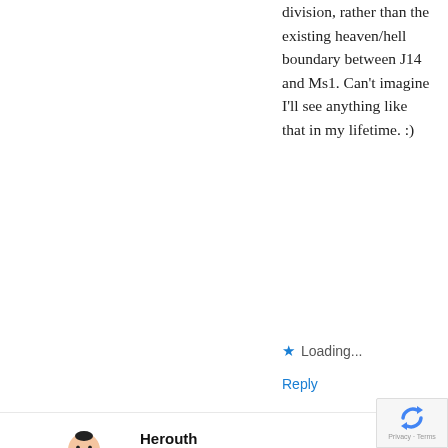division, rather than the existing heaven/hell boundary between J14 and Ms1. Can't imagine I'll see anything like that in my lifetime. :)
★ Loading...
Reply
[Figure (illustration): Sumo wrestler cartoon avatar illustration — a round, heavyset sumo wrestler in a green mawashi with arms outstretched]
Herouth
September 28, 2017 at 6:44 pm
How about a system where the returning rikishi is tested for his abilities and his rank is determined
[Figure (logo): Google reCAPTCHA badge with circular arrow logo and Privacy · Terms text]